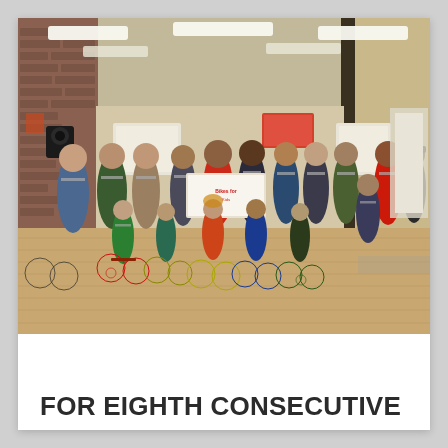[Figure (photo): Group photo of adults and children in a gymnasium or community hall. Children are holding bicycles with training wheels. Adults are wearing masks. A banner is visible in the background. Fluorescent ceiling lights illuminate the space.]
FOR EIGHTH CONSECUTIVE